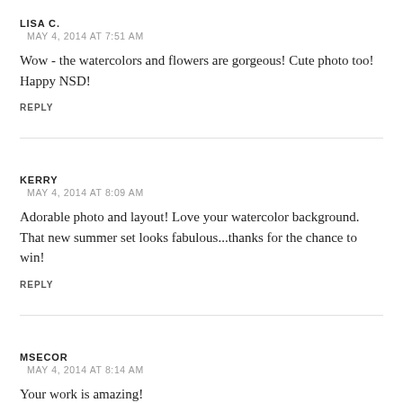LISA C.
MAY 4, 2014 AT 7:51 AM
Wow - the watercolors and flowers are gorgeous! Cute photo too! Happy NSD!
REPLY
KERRY
MAY 4, 2014 AT 8:09 AM
Adorable photo and layout! Love your watercolor background. That new summer set looks fabulous...thanks for the chance to win!
REPLY
MSECOR
MAY 4, 2014 AT 8:14 AM
Your work is amazing!
REPLY